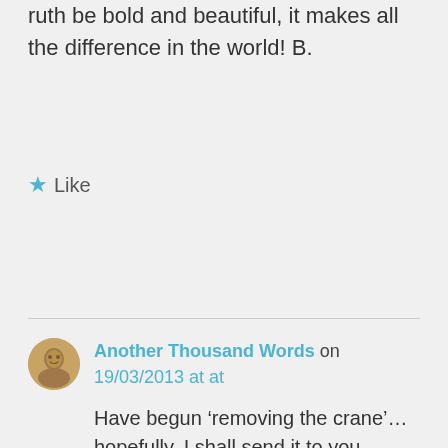ruth be bold and beautiful, it makes all the difference in the world! B.
★ Like
Another Thousand Words on 19/03/2013 at at
Have begun 'removing the crane'… hopefully, I shall send it to you tomorrow, as the perfect gift for 'Le printemps a Paris'!
And I absolutely agree about the lash curler, Babs!!!
★ Like